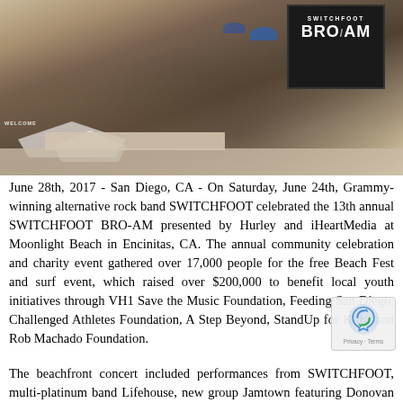[Figure (photo): Aerial/elevated view of a large crowd at the Switchfoot Bro-Am beach festival event, with tents, vendor areas, and a large black stage screen showing 'SWITCHFOOT BRO AM' branding.]
June 28th, 2017 - San Diego, CA - On Saturday, June 24th, Grammy-winning alternative rock band SWITCHFOOT celebrated the 13th annual SWITCHFOOT BRO-AM presented by Hurley and iHeartMedia at Moonlight Beach in Encinitas, CA. The annual community celebration and charity event gathered over 17,000 people for the free Beach Fest and surf event, which raised over $200,000 to benefit local youth initiatives through VH1 Save the Music Foundation, Feeding San Diego, Challenged Athletes Foundation, A Step Beyond, StandUp for Kids, and Rob Machado Foundation.
The beachfront concert included performances from SWITCHFOOT, multi-platinum band Lifehouse, new group Jamtown featuring Donovan Frankenreiter, G Love and Cisco Adler, a surprise guest performance by